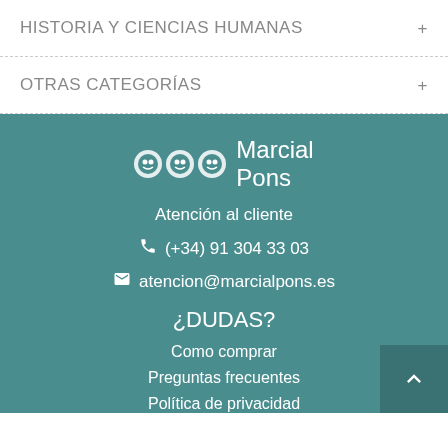HISTORIA Y CIENCIAS HUMANAS
OTRAS CATEGORÍAS
[Figure (logo): Marcial Pons logo with three circular icons and brand name text]
Atención al cliente
(+34) 91 304 33 03
atencion@marcialpons.es
¿DUDAS?
Como comprar
Preguntas frecuentes
Política de privacidad